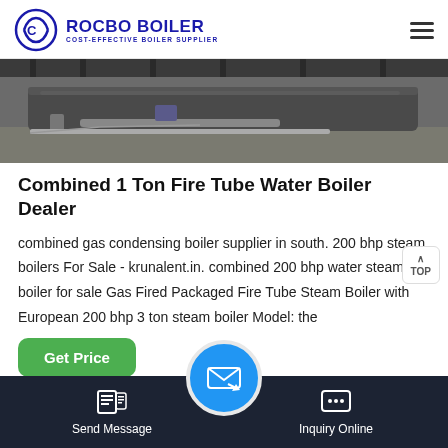[Figure (logo): Rocbo Boiler logo with circular C icon and text 'ROCBO BOILER - COST-EFFECTIVE BOILER SUPPLIER']
[Figure (photo): Photo of industrial fire tube boiler equipment in a facility]
Combined 1 Ton Fire Tube Water Boiler Dealer
combined gas condensing boiler supplier in south. 200 bhp steam boilers For Sale - krunalent.in. combined 200 bhp water steam boiler for sale Gas Fired Packaged Fire Tube Steam Boiler with European 200 bhp 3 ton steam boiler Model: the
[Figure (other): Green 'Get Price' button]
Send Message | Inquiry Online